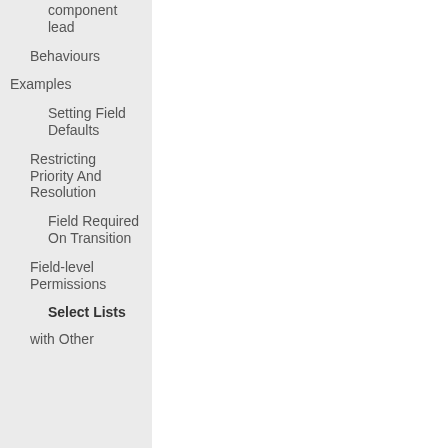component lead
Behaviours
Examples
Setting Field Defaults
Restricting Priority And Resolution
Field Required On Transition
Field-level Permissions
Select Lists
with Other